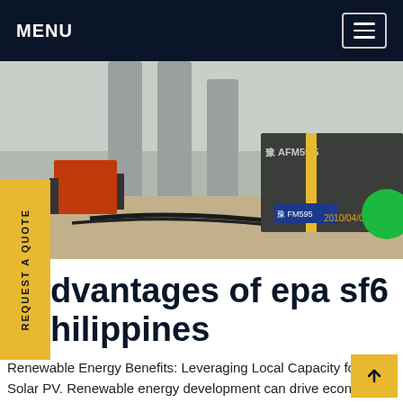MENU
[Figure (photo): Industrial site photograph showing large cylindrical structures, orange equipment, cables on ground, and a dark truck or container labeled 'AFM59 5' with a date stamp '2010/04/0' visible. A green circle is visible on the right side.]
dvantages of epa sf6 hilippines
Renewable Energy Benefits: Leveraging Local Capacity for Solar PV. Renewable energy development can drive economic growth, create new jobs and enhance human health and welfare, at